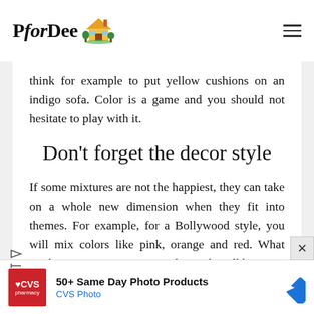PforDee
think for example to put yellow cushions on an indigo sofa. Color is a game and you should not hesitate to play with it.
Don't forget the decor style
If some mixtures are not the happiest, they can take on a whole new dimension when they fit into themes. For example, for a Bollywood style, you will mix colors like pink, orange and red. What might seem surprising in another style will be
[Figure (other): CVS Pharmacy advertisement: 50+ Same Day Photo Products, CVS Photo]